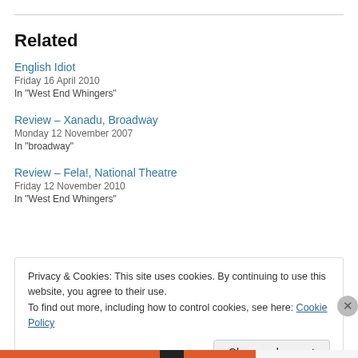Related
English Idiot
Friday 16 April 2010
In "West End Whingers"
Review – Xanadu, Broadway
Monday 12 November 2007
In "broadway"
Review – Fela!, National Theatre
Friday 12 November 2010
In "West End Whingers"
Privacy & Cookies: This site uses cookies. By continuing to use this website, you agree to their use.
To find out more, including how to control cookies, see here: Cookie Policy
Close and accept